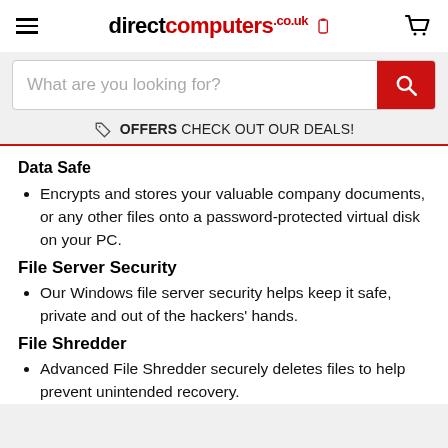directcomputers.co.uk
What are you looking for?
OFFERS  CHECK OUT OUR DEALS!
Data Safe
Encrypts and stores your valuable company documents, or any other files onto a password-protected virtual disk on your PC.
File Server Security
Our Windows file server security helps keep it safe, private and out of the hackers' hands.
File Shredder
Advanced File Shredder securely deletes files to help prevent unintended recovery.